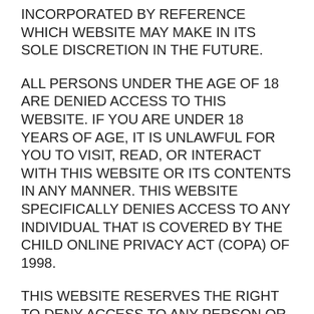INCORPORATED BY REFERENCE WHICH WEBSITE MAY MAKE IN ITS SOLE DISCRETION IN THE FUTURE.
ALL PERSONS UNDER THE AGE OF 18 ARE DENIED ACCESS TO THIS WEBSITE. IF YOU ARE UNDER 18 YEARS OF AGE, IT IS UNLAWFUL FOR YOU TO VISIT, READ, OR INTERACT WITH THIS WEBSITE OR ITS CONTENTS IN ANY MANNER. THIS WEBSITE SPECIFICALLY DENIES ACCESS TO ANY INDIVIDUAL THAT IS COVERED BY THE CHILD ONLINE PRIVACY ACT (COPA) OF 1998.
THIS WEBSITE RESERVES THE RIGHT TO DENY ACCESS TO ANY PERSON OR VIEWER FOR ANY REASON. UNDER THE TERMS OF THE PRIVACY POLICY, WHICH YOU ACCEPT AS